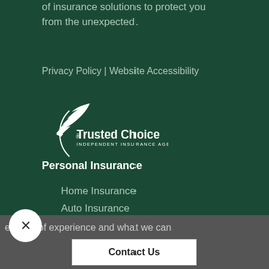of insurance solutions to protect you from the unexpected.
Privacy Policy | Website Accessibility
[Figure (logo): Trusted Choice Independent Insurance Agents logo — white bird/wing icon above circular text reading 'Trusted Choice® INDEPENDENT INSURANCE AGENTS']
Personal Insurance
Home Insurance
Auto Insurance
e value of experience and what we can
Contact Us